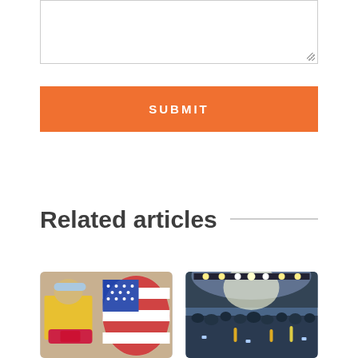[Figure (other): Text input textarea with resize handle]
SUBMIT
Related articles
[Figure (photo): Person in yellow shirt and cap next to large American flag balloon]
[Figure (photo): Concert crowd with bright stage lights]